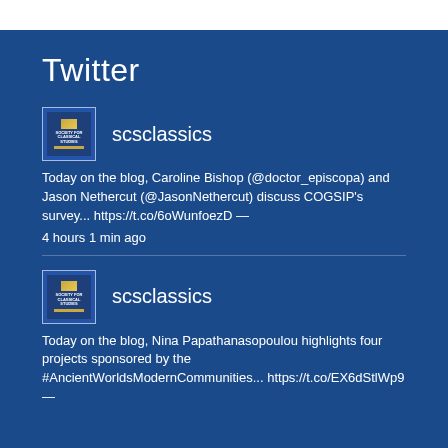Twitter
[Figure (logo): SCS Classics book cover avatar thumbnail]
scsclassics
Today on the blog, Caroline Bishop (@doctor_episcopa) and Jason Nethercut (@JasonNethercut) discuss COGSIP's survey... https://t.co/6oWunfoezD —
4 hours 1 min ago
[Figure (logo): SCS Classics book cover avatar thumbnail]
scsclassics
Today on the blog, Nina Papathanasopoulou highlights four projects sponsored by the #AncientWorldsModernCommunities... https://t.co/EX6dStlWp9 —